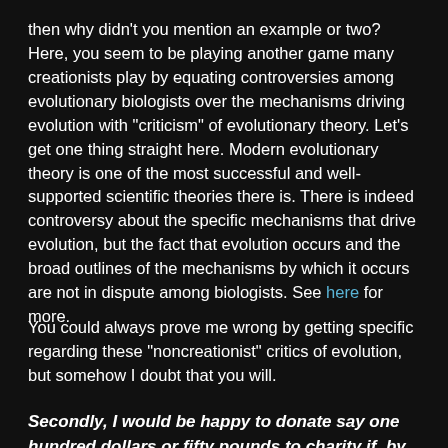then why didn't you mention an example or two? Here, you seem to be playing another game many creationists play by equating controversies among evolutionary biologists over the mechanisms driving evolution with "criticism" of evolutionary theory. Let's get one thing straight here. Modern evolutionary theory is one of the most successful and well-supported scientific theories there is. There is indeed controversy about the specific mechanisms that drive evolution, but the fact that evolution occurs and the broad outlines of the mechanisms by which it occurs are not in dispute among biologists. See here for more.
You could always prove me wrong by getting specific regarding these "noncreationist" critics of evolution, but somehow I doubt that you will.
Secondly, I would be happy to donate say one hundred dollars or fifty pounds to charity if, by the end of ten